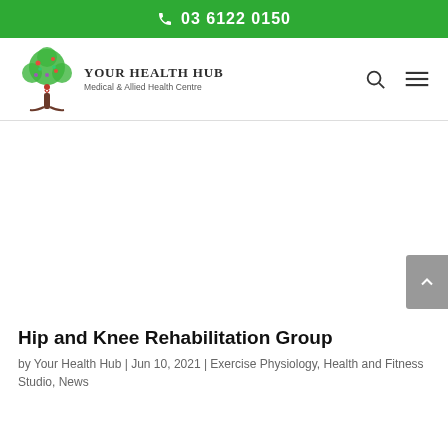03 6122 0150
[Figure (logo): Your Health Hub logo with a stylized tree and text 'YOUR HEALTH HUB Medical & Allied Health Centre']
Hip and Knee Rehabilitation Group
by Your Health Hub | Jun 10, 2021 | Exercise Physiology, Health and Fitness Studio, News